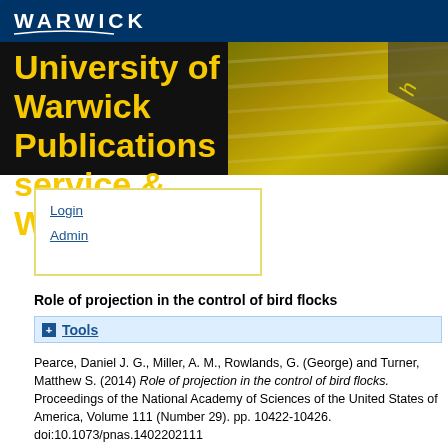[Figure (logo): University of Warwick logo and banner with yellow text 'University of Warwick Publications service & WRAP' over a dark background with yellow highlighter pen image]
Login
Admin
Role of projection in the control of bird flocks
+ Tools
Pearce, Daniel J. G., Miller, A. M., Rowlands, G. (George) and Turner, Matthew S. (2014) Role of projection in the control of bird flocks. Proceedings of the National Academy of Sciences of the United States of America, Volume 111 (Number 29). pp. 10422-10426.
doi:10.1073/pnas.1402202111